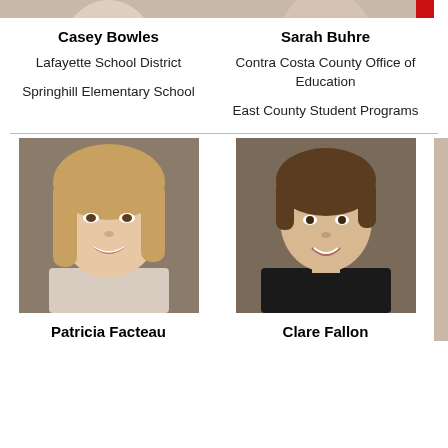[Figure (photo): Partial photo strip of Casey Bowles at top]
[Figure (photo): Partial photo strip of Sarah Buhre at top, with red element at right edge]
Casey Bowles
Sarah Buhre
Lafayette School District
Contra Costa County Office of Education
Springhill Elementary School
East County Student Programs
[Figure (photo): Professional headshot of Patricia Facteau, a woman with shoulder-length blonde hair, smiling, against a brown background]
[Figure (photo): Professional headshot of Clare Fallon, a woman with short brown hair, wearing a black top, smiling, against a brown background]
Patricia Facteau
Clare Fallon